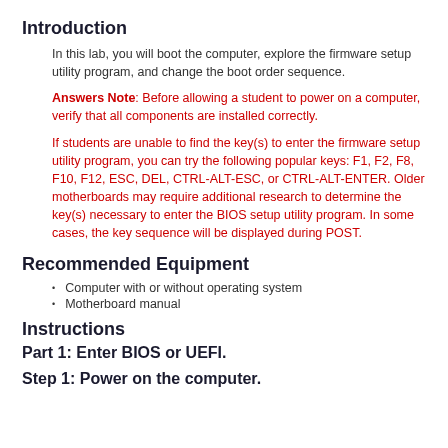Introduction
In this lab, you will boot the computer, explore the firmware setup utility program, and change the boot order sequence.
Answers Note: Before allowing a student to power on a computer, verify that all components are installed correctly.
If students are unable to find the key(s) to enter the firmware setup utility program, you can try the following popular keys: F1, F2, F8, F10, F12, ESC, DEL, CTRL-ALT-ESC, or CTRL-ALT-ENTER. Older motherboards may require additional research to determine the key(s) necessary to enter the BIOS setup utility program. In some cases, the key sequence will be displayed during POST.
Recommended Equipment
Computer with or without operating system
Motherboard manual
Instructions
Part 1: Enter BIOS or UEFI.
Step 1: Power on the computer.